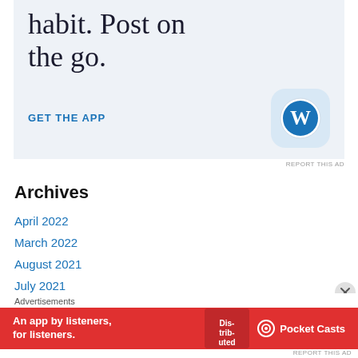[Figure (screenshot): WordPress app advertisement with text 'habit. Post on the go.' and 'GET THE APP' link with WordPress icon]
REPORT THIS AD
Archives
April 2022
March 2022
August 2021
July 2021
June 2021
Advertisements
[Figure (screenshot): Pocket Casts advertisement: 'An app by listeners, for listeners.' on red background with Pocket Casts logo]